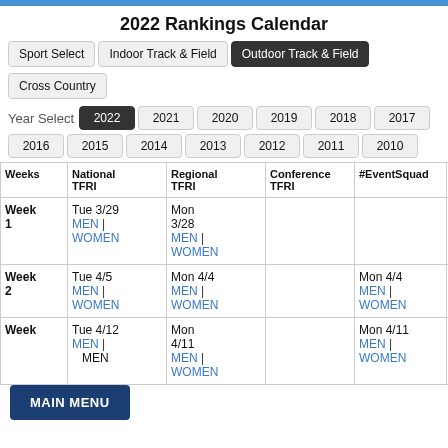2022 Rankings Calendar
Sport Select | Indoor Track & Field | Outdoor Track & Field | Cross Country
Year Select: 2022 2021 2020 2019 2018 2017 2016 2015 2014 2013 2012 2011 2010
| Weeks | National TFRI | Regional TFRI | Conference TFRI | #EventSquad | KE DA |
| --- | --- | --- | --- | --- | --- |
| Week 1 | Tue 3/29 MEN | WOMEN | Mon 3/28 MEN | WOMEN |  |  |  |
| Week 2 | Tue 4/5 MEN | WOMEN | Mon 4/4 MEN | WOMEN |  | Mon 4/4 MEN | WOMEN |  |
| Week | Tue 4/12 MEN | | Mon 4/11 MEN | WOMEN |  | Mon 4/11 MEN | WOMEN |  |
MAIN MENU